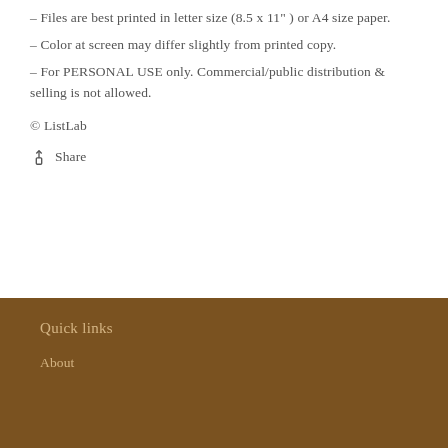– Files are best printed in letter size (8.5 x 11" ) or A4 size paper.
– Color at screen may differ slightly from printed copy.
– For PERSONAL USE only. Commercial/public distribution & selling is not allowed.
© ListLab
Share
Quick links
About